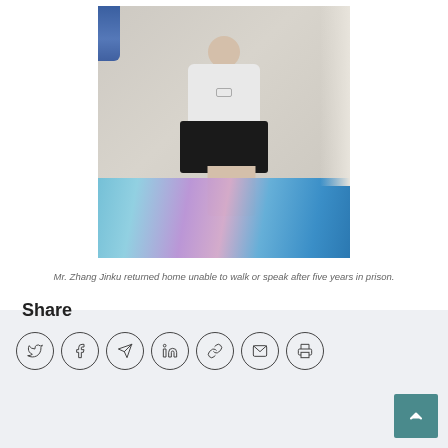[Figure (photo): A thin man sitting on a bed/mattress with colorful floral bedding in a sparse room, wearing a white t-shirt and black shorts. A blue item hangs in the upper left corner.]
Mr. Zhang Jinku returned home unable to walk or speak after five years in prison.
Share
[Figure (infographic): Row of social media sharing icons in circles: Twitter/X, Facebook, Telegram, LinkedIn, Link/copy, Email, Print]